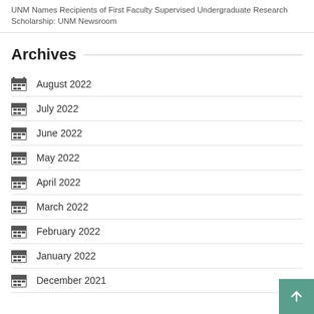UNM Names Recipients of First Faculty Supervised Undergraduate Research Scholarship: UNM Newsroom
Archives
August 2022
July 2022
June 2022
May 2022
April 2022
March 2022
February 2022
January 2022
December 2021